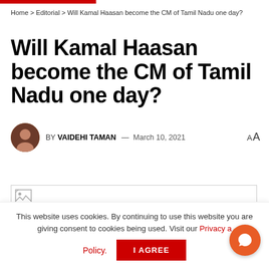Home > Editorial > Will Kamal Haasan become the CM of Tamil Nadu one day?
Will Kamal Haasan become the CM of Tamil Nadu one day?
BY VAIDEHI TAMAN — March 10, 2021
[Figure (photo): Broken image placeholder for article photo]
This website uses cookies. By continuing to use this website you are giving consent to cookies being used. Visit our Privacy and Cookie Policy.
I Agree